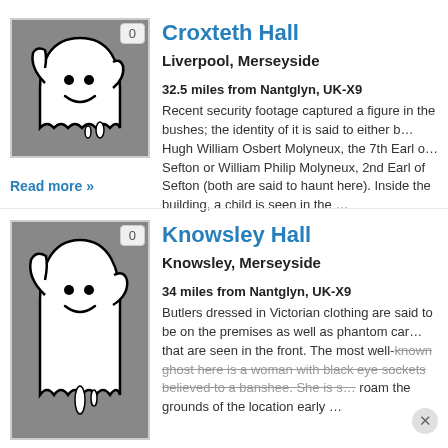[Figure (illustration): Ghost cartoon illustration on grey background with badge showing '0']
Croxteth Hall
Liverpool, Merseyside
32.5 miles from Nantglyn, UK-X9
Recent security footage captured a figure in the bushes; the identity of it is said to either be Hugh William Osbert Molyneux, the 7th Earl of Sefton or William Philip Molyneux, 2nd Earl of Sefton (both are said to haunt here). Inside the building, a child is seen in the ...
Read more »
[Figure (illustration): Ghost cartoon illustration on grey background with badge showing '0']
Knowsley Hall
Knowsley, Merseyside
34 miles from Nantglyn, UK-X9
Butlers dressed in Victorian clothing are said to be on the premises as well as phantom cars that are seen in the front. The most well-known ghost here is a woman with black eye sockets believed to a banshee. She is s... roam the grounds of the location early ...